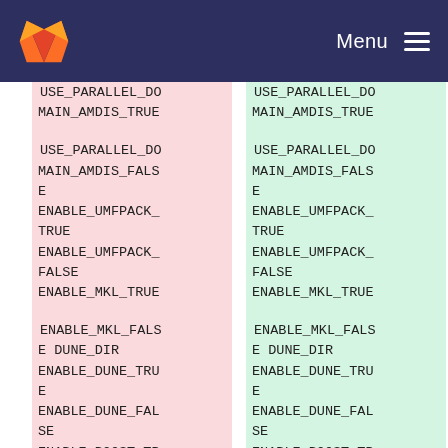GitLab Menu
| Left (deleted) | Right (added) |
| --- | --- |
| USE_PARALLEL_DOMAIN_AMDIS_TRUE | USE_PARALLEL_DOMAIN_AMDIS_TRUE |
| USE_PARALLEL_DOMAIN_AMDIS_FALSE
ENABLE_UMFPACK_TRUE
ENABLE_UMFPACK_FALSE
ENABLE_MKL_TRUE | USE_PARALLEL_DOMAIN_AMDIS_FALSE
ENABLE_UMFPACK_TRUE
ENABLE_UMFPACK_FALSE
ENABLE_MKL_TRUE |
| ENABLE_MKL_FALSE DUNE_DIR
ENABLE_DUNE_TRUE
ENABLE_DUNE_FALSE
ENABLE_BOOST_TRUE | ENABLE_MKL_FALSE DUNE_DIR
ENABLE_DUNE_TRUE
ENABLE_DUNE_FALSE
ENABLE_BOOST_TRUE |